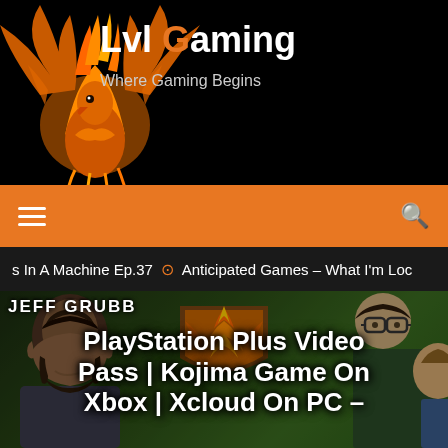Lvl Gaming – Where Gaming Begins
[Figure (logo): Lvl Gaming website header with orange phoenix logo on black background, text 'Lvl Gaming' and tagline 'Where Gaming Begins']
[Figure (infographic): Orange navigation bar with hamburger menu icon on left and search icon on right]
s In A Machine Ep.37   ⊙ Anticipated Games – What I'm Loc
[Figure (photo): Article thumbnail showing Jeff Grubb and other people (including a man with glasses and another person) with a phoenix logo overlay. Article title: PlayStation Plus Video Pass | Kojima Game On Xbox | Xcloud On PC –]
PlayStation Plus Video Pass | Kojima Game On Xbox | Xcloud On PC –